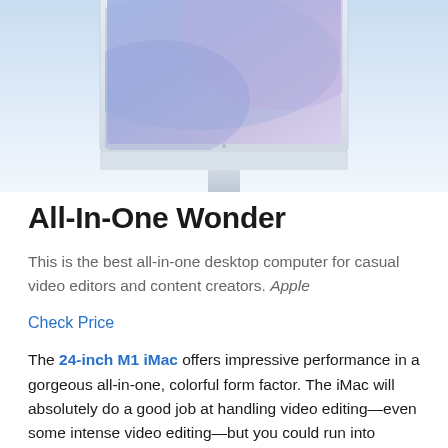[Figure (photo): Apple iMac 24-inch M1 all-in-one desktop computer in silver/blue color, shown partially cropped from above, with a thin display and colorful gradient wallpaper on screen, against a light blue gradient background]
All-In-One Wonder
This is the best all-in-one desktop computer for casual video editors and content creators. Apple
Check Price
The 24-inch M1 iMac offers impressive performance in a gorgeous all-in-one, colorful form factor. The iMac will absolutely do a good job at handling video editing—even some intense video editing—but you could run into